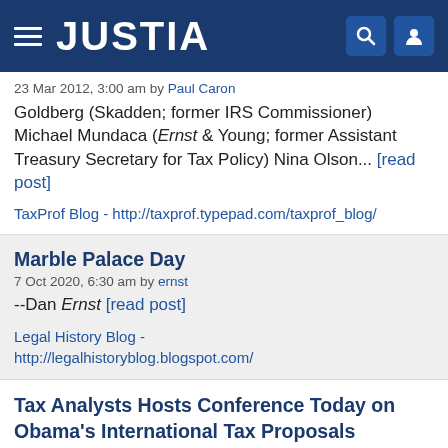JUSTIA
23 Mar 2012, 3:00 am by Paul Caron
Goldberg (Skadden; former IRS Commissioner) Michael Mundaca (Ernst & Young; former Assistant Treasury Secretary for Tax Policy) Nina Olson... [read post]
TaxProf Blog - http://taxprof.typepad.com/taxprof_blog/
Marble Palace Day
7 Oct 2020, 6:30 am by ernst
--Dan Ernst [read post]
Legal History Blog - http://legalhistoryblog.blogspot.com/
Tax Analysts Hosts Conference Today on Obama's International Tax Proposals